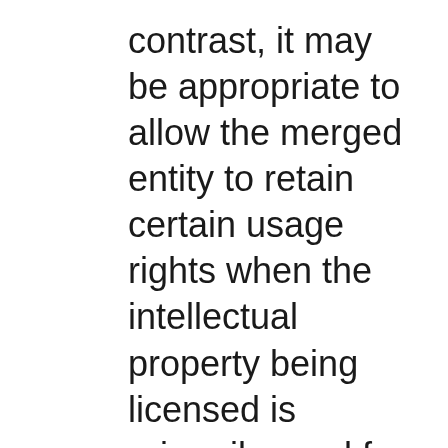contrast, it may be appropriate to allow the merged entity to retain certain usage rights when the intellectual property being licensed is primarily used for other products that are not part of the relevant market, and the merged entity requires such intellectual property for such other products. Sub-licensing may be appropriate when the owner of the intellectual property, pre-merger, previously licensed to multiple licensees and will likely engage in sub-licensing to other firms in the